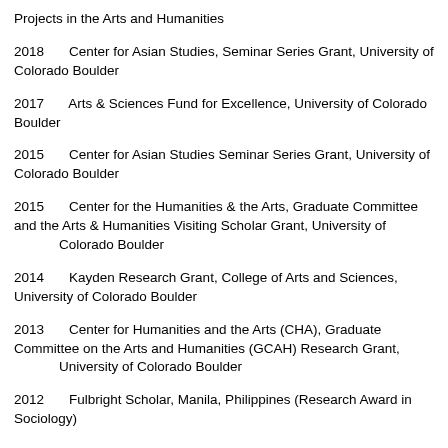Projects in the Arts and Humanities
2018    Center for Asian Studies, Seminar Series Grant, University of Colorado Boulder
2017    Arts & Sciences Fund for Excellence, University of Colorado Boulder
2015    Center for Asian Studies Seminar Series Grant, University of Colorado Boulder
2015    Center for the Humanities & the Arts, Graduate Committee and the Arts & Humanities Visiting Scholar Grant, University of Colorado Boulder
2014    Kayden Research Grant, College of Arts and Sciences, University of Colorado Boulder
2013    Center for Humanities and the Arts (CHA), Graduate Committee on the Arts and Humanities (GCAH) Research Grant, University of Colorado Boulder
2012    Fulbright Scholar, Manila, Philippines (Research Award in Sociology)